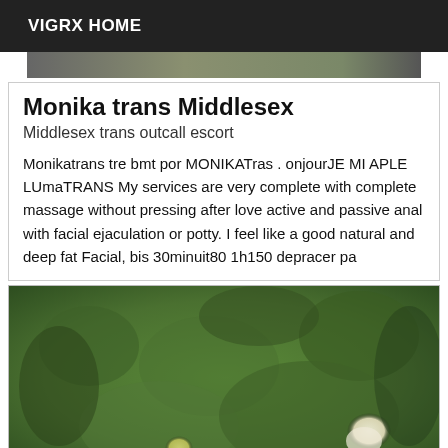VIGRX HOME
[Figure (photo): Partial photo at top of page, dark tones]
Monika trans Middlesex
Middlesex trans outcall escort
Monikatrans tre bmt por MONIKATras . onjourJE MI APLE LUmaTRANS My services are very complete with complete massage without pressing after love active and passive anal with facial ejaculation or potty. I feel like a good natural and deep fat Facial, bis 30minuit80 1h150 depracer pa
[Figure (photo): Photo of green foliage/flowers background with white and yellow flowers visible]